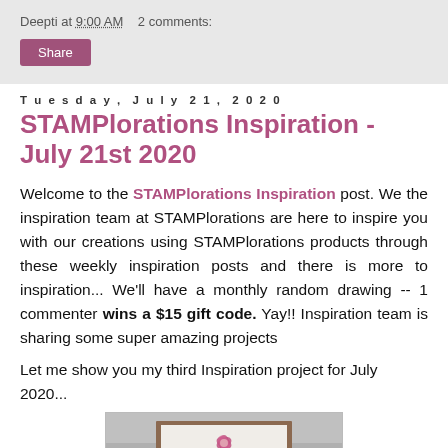Deepti at 9:00 AM   2 comments:
Share
Tuesday, July 21, 2020
STAMPlorations Inspiration - July 21st 2020
Welcome to the STAMPlorations Inspiration post. We the inspiration team at STAMPlorations are here to inspire you with our creations using STAMPlorations products through these weekly inspiration posts and there is more to inspiration... We'll have a monthly random drawing -- 1 commenter wins a $15 gift code. Yay!! Inspiration team is sharing some super amazing projects
Let me show you my third Inspiration project for July 2020...
[Figure (photo): Photo of a handmade card with a pink flower stem on a light background, framed inside a brown mat on a gray surface.]